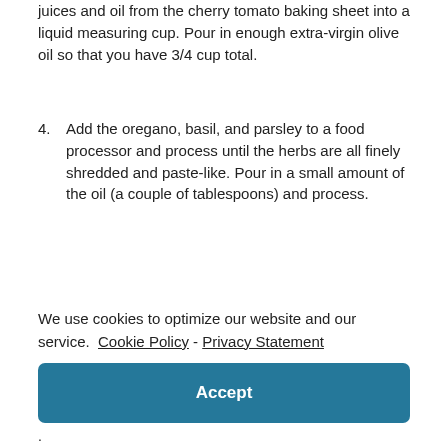juices and oil from the cherry tomato baking sheet into a liquid measuring cup. Pour in enough extra-virgin olive oil so that you have 3/4 cup total.
4. Add the oregano, basil, and parsley to a food processor and process until the herbs are all finely shredded and paste-like. Pour in a small amount of the oil (a couple of tablespoons) and process.
We use cookies to optimize our website and our service.  Cookie Policy - Privacy Statement
Accept
· ors are might be plenty salty on their own!